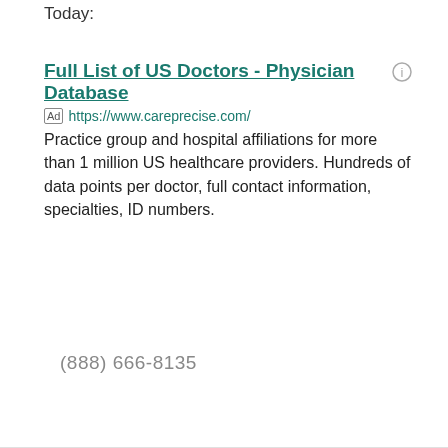Today:
Full List of US Doctors - Physician Database
Ad https://www.careprecise.com/
Practice group and hospital affiliations for more than 1 million US healthcare providers. Hundreds of data points per doctor, full contact information, specialties, ID numbers.
(888) 666-8135